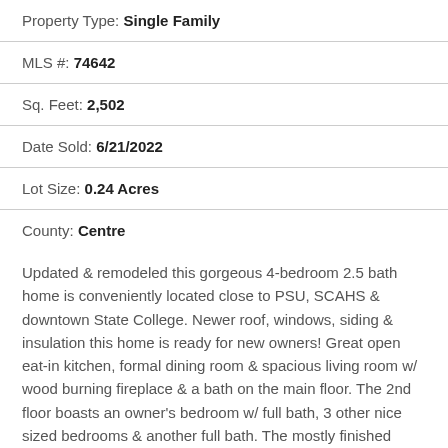Property Type: Single Family
MLS #: 74642
Sq. Feet: 2,502
Date Sold: 6/21/2022
Lot Size: 0.24 Acres
County: Centre
Updated & remodeled this gorgeous 4-bedroom 2.5 bath home is conveniently located close to PSU, SCAHS & downtown State College. Newer roof, windows, siding & insulation this home is ready for new owners! Great open eat-in kitchen, formal dining room & spacious living room w/ wood burning fireplace & a bath on the main floor. The 2nd floor boasts an owner's bedroom w/ full bath, 3 other nice sized bedrooms & another full bath. The mostly finished lower level includes a lovely family room w/ fireplace, loads of storage, utility room &